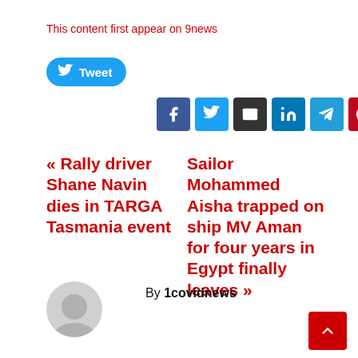This content first appear on 9news
[Figure (other): Tweet button with Twitter bird icon]
[Figure (other): Social sharing icons: Facebook, Twitter, Email, LinkedIn, Telegram, Pinterest]
« Rally driver Shane Navin dies in TARGA Tasmania event
Sailor Mohammed Aisha trapped on ship MV Aman for four years in Egypt finally leaves »
By 1covidnews
[Figure (other): Author avatar placeholder circle with person silhouette]